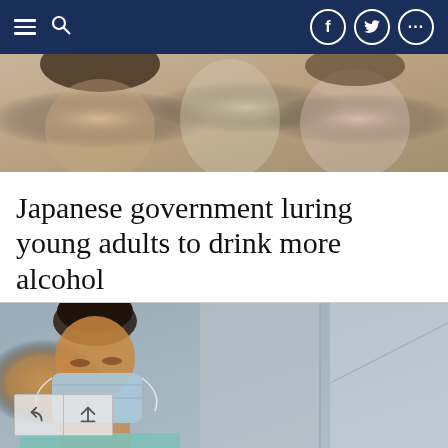Navigation bar with menu, search, Facebook, Twitter, and more icons
[Figure (photo): Cropped photo of two smiling young women, one with dark hair and one with lighter skin, outdoors with blurred background]
Japanese government luring young adults to drink more alcohol
[Figure (photo): Young Black woman with hair in bun, wearing a light blue surgical mask, eyes closed, leaning against a grey wall]